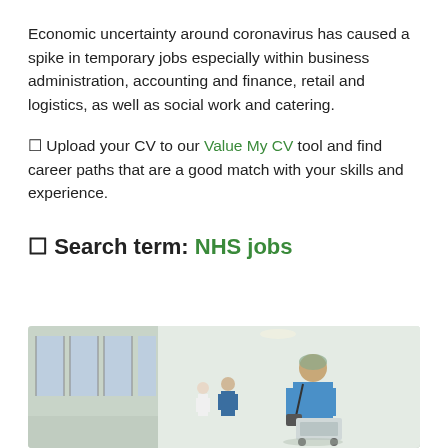Economic uncertainty around coronavirus has caused a spike in temporary jobs especially within business administration, accounting and finance, retail and logistics, as well as social work and catering.
↵ Upload your CV to our Value My CV tool and find career paths that are a good match with your skills and experience.
↵ Search term: NHS jobs
[Figure (photo): A hospital corridor scene showing a healthcare worker in blue scrubs and hairnet pushing a cart away from the camera, with other staff members visible in the background near windows on the left side.]